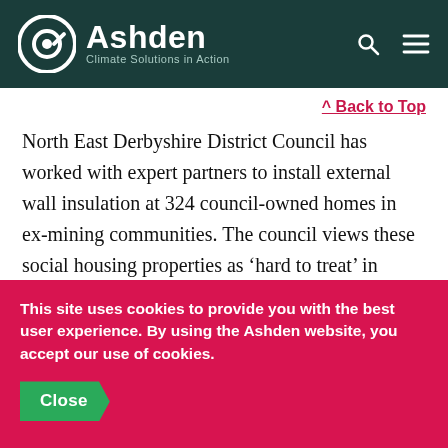[Figure (logo): Ashden Climate Solutions in Action logo — white circular icon with stylized 'a' shape on dark teal background, with text 'Ashden' in large bold white and 'Climate Solutions in Action' in smaller text]
^ Back to Top
North East Derbyshire District Council has worked with expert partners to install external wall insulation at 324 council-owned homes in ex-mining communities. The council views these social housing properties as ‘hard to treat’ in
This site uses cookies to provide you with the best user experience. By using the Ashden website, you accept our use of cookies.
Close